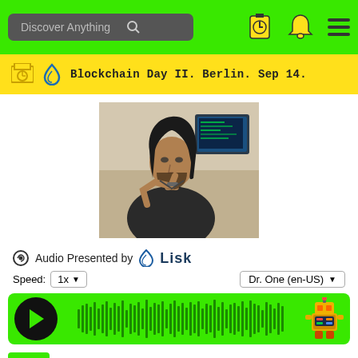Discover Anything
Blockchain Day II. Berlin. Sep 14.
[Figure (photo): Photo of a man with long dark hair wearing a black t-shirt, sitting and resting his chin on his hand, with a computer screen in the background]
Audio Presented by Lisk
Speed: 1x   Dr. One (en-US)
[Figure (other): Audio player with play button and green waveform visualization and robot icon]
@oleg_guryanov